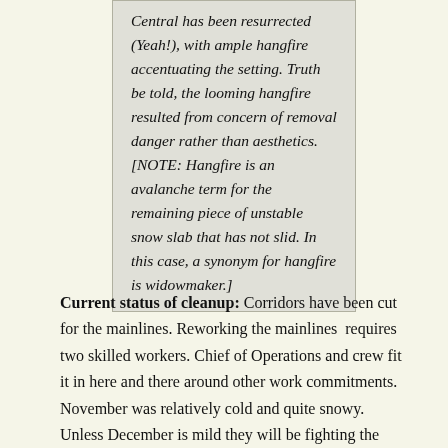Central has been resurrected (Yeah!), with ample hangfire accentuating the setting. Truth be told, the looming hangfire resulted from concern of removal danger rather than aesthetics. [NOTE: Hangfire is an avalanche term for the remaining piece of unstable snow slab that has not slid. In this case, a synonym for hangfire is widowmaker.]
Current status of cleanup: Corridors have been cut for the mainlines. Reworking the mainlines requires two skilled workers. Chief of Operations and crew fit it in here and there around other work commitments. November was relatively cold and quite snowy. Unless December is mild they will be fighting the weather soon. Sugar season isn't far off; we'll be tapping in two months. It would be very good to finish this project by Christmas.